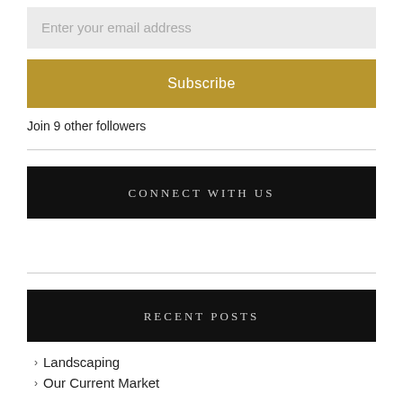Enter your email address
Subscribe
Join 9 other followers
CONNECT WITH US
RECENT POSTS
Landscaping
Our Current Market